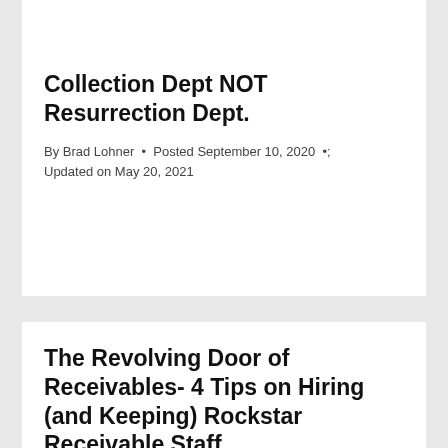Collection Dept NOT Resurrection Dept.
By Brad Lohner • Posted September 10, 2020 • Updated on May 20, 2021
The Revolving Door of Receivables- 4 Tips on Hiring (and Keeping) Rockstar Receivable Staff
By Brad Lohner • Posted January 3, 2019 •